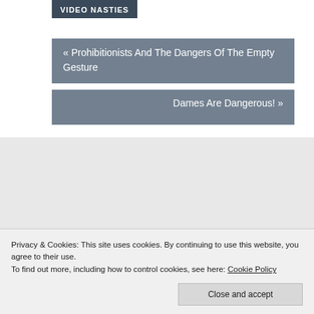VIDEO NASTIES
« Prohibitionists And The Dangers Of The Empty Gesture
Dames Are Dangerous! »
ONE COMMENT
Pingback: A Sick Film For Sick People: Nicolas
Privacy & Cookies: This site uses cookies. By continuing to use this website, you agree to their use.
To find out more, including how to control cookies, see here: Cookie Policy
Close and accept